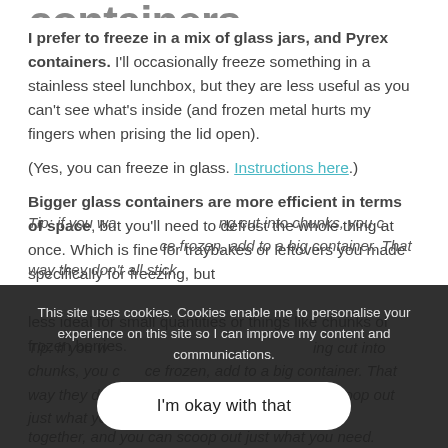containers
I prefer to freeze in a mix of glass jars, and Pyrex containers. I'll occasionally freeze something in a stainless steel lunchbox, but they are less useful as you can't see what's inside (and frozen metal hurts my fingers when prising the lid open).
(Yes, you can freeze in glass. Instructions here.)
Bigger glass containers are more efficient in terms of space, but you'll need to defrost the whole thing at once. Which is fine for traybakes or leftovers you made specifically for freezing, but less ideal for small quantities or things like chunks of frozen berries.
Tip: if you want to freeze something by cutting into chunks, you can freeze on a tray first. Once frozen, add to a big container. That way they don't all stick together, and you can scoop out just what you need.
This site uses cookies. Cookies enable me to personalise your experience on this site so I can improve my content and communications.
I'm okay with that